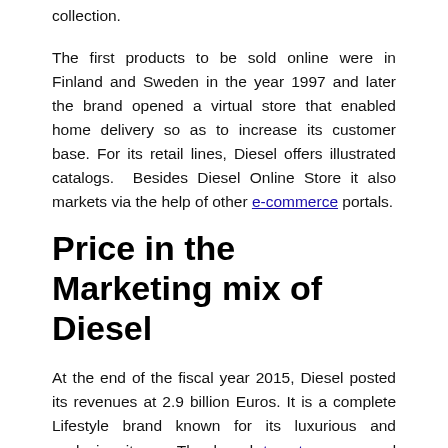collection.
The first products to be sold online were in Finland and Sweden in the year 1997 and later the brand opened a virtual store that enabled home delivery so as to increase its customer base. For its retail lines, Diesel offers illustrated catalogs. Besides Diesel Online Store it also markets via the help of other e-commerce portals.
Price in the Marketing mix of Diesel
At the end of the fiscal year 2015, Diesel posted its revenues at 2.9 billion Euros. It is a complete Lifestyle brand known for its luxurious and exclusive items. The brand targets upper and upper-middle class section of society from an urban area who is fashion, image, and